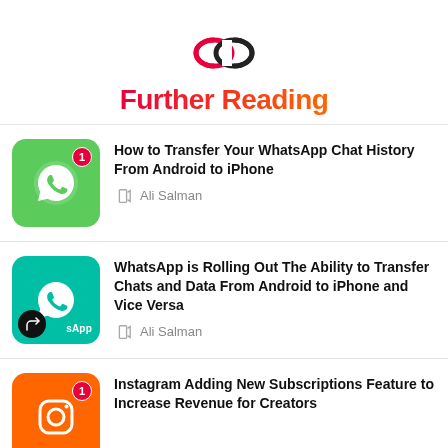[Figure (logo): Linked rings icon in pink and dark, representing further reading links]
Further Reading
How to Transfer Your WhatsApp Chat History From Android to iPhone — Ali Salman
WhatsApp is Rolling Out The Ability to Transfer Chats and Data From Android to iPhone and Vice Versa — Ali Salman
Instagram Adding New Subscriptions Feature to Increase Revenue for Creators